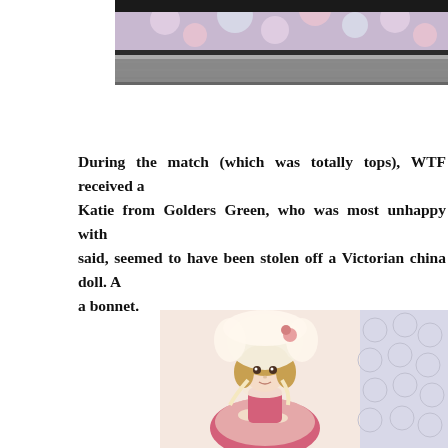[Figure (photo): Partial photo at top of page showing a shelf or ledge with floral fabric/clothing visible above it, cut off at the top]
During the match (which was totally tops), WTF received a Katie from Golders Green, who was most unhappy with said, seemed to have been stolen off a Victorian china doll. A a bonnet.
[Figure (photo): Photo of a Victorian china porcelain doll wearing a large cream/white lacy bonnet with ribbons, pink dress with lace trim, blonde curly hair, visible against a light background]